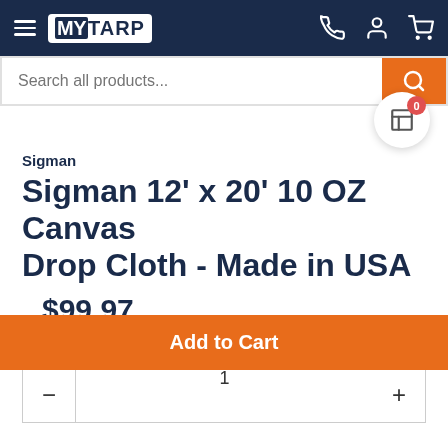MY TARP — navigation header with search bar
Sigman
Sigman 12' x 20' 10 OZ Canvas Drop Cloth - Made in USA
$99.97
Quantity:
1
Add to Cart